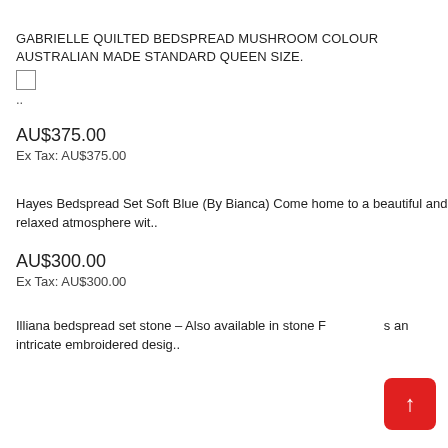GABRIELLE QUILTED BEDSPREAD MUSHROOM COLOUR AUSTRALIAN MADE STANDARD QUEEN SIZE.
..
AU$375.00
Ex Tax: AU$375.00
Hayes Bedspread Set Soft Blue (By Bianca) Come home to a beautiful and relaxed atmosphere wit..
AU$300.00
Ex Tax: AU$300.00
Illiana bedspread set stone – Also available in stone F... s an intricate embroidered desig..